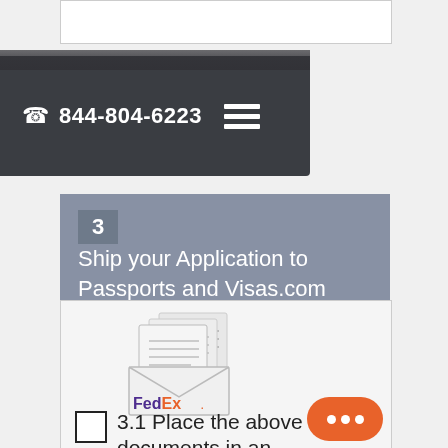844-804-6223
3   Ship your Application to Passports and Visas.com
[Figure (illustration): FedEx envelope with documents illustration and FedEx logo]
3.1 Place the above documents in an